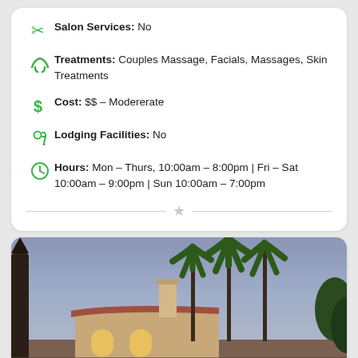Salon Services: No
Treatments: Couples Massage, Facials, Massages, Skin Treatments
Cost: $$ – Modererate
Lodging Facilities: No
Hours: Mon – Thurs, 10:00am – 8:00pm | Fri – Sat 10:00am – 9:00pm | Sun 10:00am – 7:00pm
[Figure (photo): Outdoor dusk photo showing a Spanish-style building with arched windows and a chimney, surrounded by tall palm trees against a purple-blue sky]